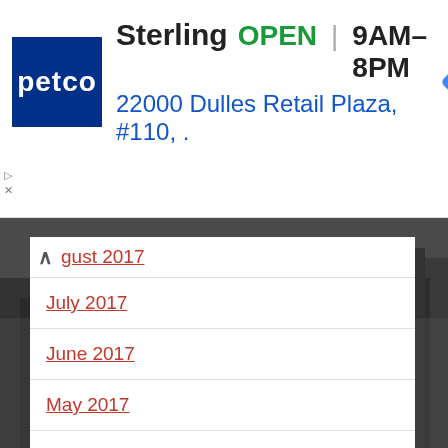[Figure (screenshot): Petco ad banner showing Sterling store, OPEN 9AM-8PM, 22000 Dulles Retail Plaza #110, with navigation icon]
August 2017
July 2017
June 2017
May 2017
April 2017
November 2016
October 2016
August 2016